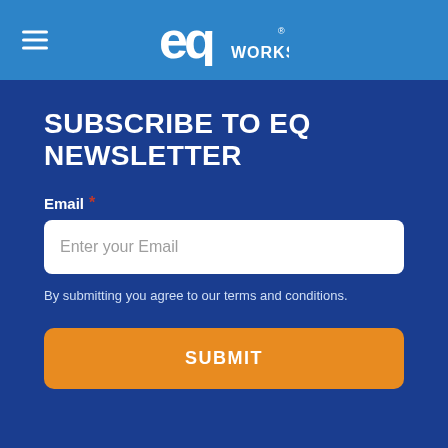EQ Works
SUBSCRIBE TO EQ NEWSLETTER
Email *
Enter your Email
By submitting you agree to our terms and conditions.
SUBMIT